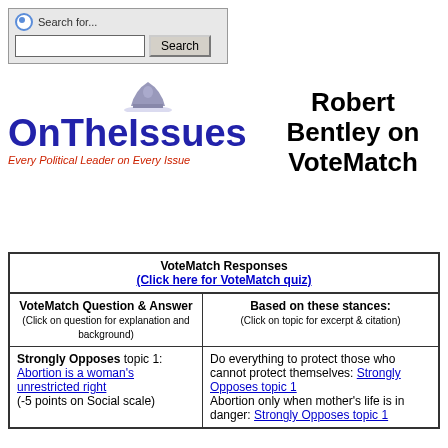[Figure (screenshot): Search bar UI with radio button, text input, and Search button]
[Figure (logo): OnTheIssues logo with dome icon and tagline Every Political Leader on Every Issue]
Robert Bentley on VoteMatch
| VoteMatch Responses (Click here for VoteMatch quiz) |
| --- |
| VoteMatch Question & Answer
(Click on question for explanation and background) | Based on these stances:
(Click on topic for excerpt & citation) |
| Strongly Opposes topic 1: Abortion is a woman's unrestricted right
(-5 points on Social scale) | Do everything to protect those who cannot protect themselves: Strongly Opposes topic 1
Abortion only when mother's life is in danger: Strongly Opposes topic 1 |